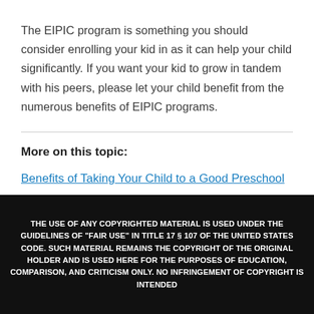The EIPIC program is something you should consider enrolling your kid in as it can help your child significantly. If you want your kid to grow in tandem with his peers, please let your child benefit from the numerous benefits of EIPIC programs.
More on this topic:
Benefits of Taking Your Child to a Good Preschool
THE USE OF ANY COPYRIGHTED MATERIAL IS USED UNDER THE GUIDELINES OF "FAIR USE" IN TITLE 17 § 107 OF THE UNITED STATES CODE. SUCH MATERIAL REMAINS THE COPYRIGHT OF THE ORIGINAL HOLDER AND IS USED HERE FOR THE PURPOSES OF EDUCATION, COMPARISON, AND CRITICISM ONLY. NO INFRINGEMENT OF COPYRIGHT IS INTENDED